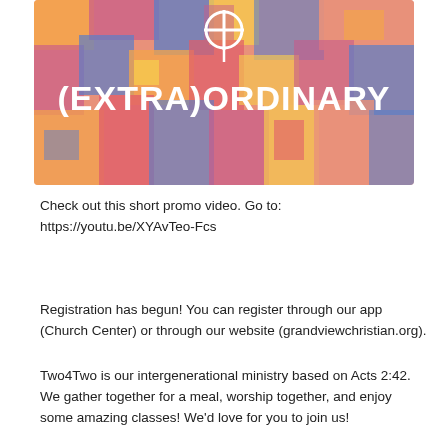[Figure (illustration): Colorful abstract mosaic background with shapes in pink, blue, orange, yellow and purple. Bold white text reads '(EXTRA)ORDINARY' with a white circle/crosshair icon above.]
Check out this short promo video. Go to: https://youtu.be/XYAvTeo-Fcs
Registration has begun! You can register through our app (Church Center) or through our website (grandviewchristian.org).
Two4Two is our intergenerational ministry based on Acts 2:42. We gather together for a meal, worship together, and enjoy some amazing classes! We'd love for you to join us!